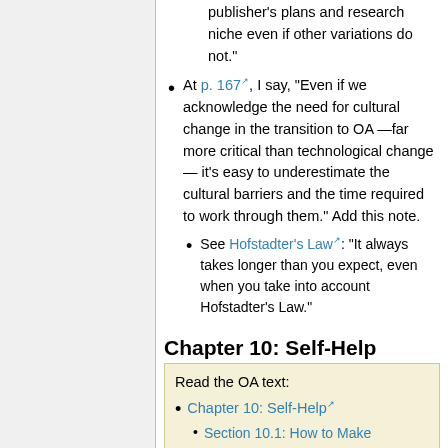publisher's plans and research niche even if other variations do not."
At p. 167, I say, "Even if we acknowledge the need for cultural change in the transition to OA —far more critical than technological change— it's easy to underestimate the cultural barriers and the time required to work through them." Add this note.
See Hofstadter's Law: "It always takes longer than you expect, even when you take into account Hofstadter's Law."
Chapter 10: Self-Help
Read the OA text:
Chapter 10: Self-Help
Section 10.1: How to Make